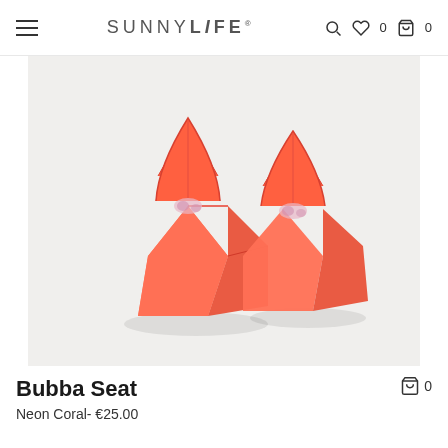SUNNYLiFE  🔍 ♡ 0  🛍 0
[Figure (photo): Two inflatable coral/neon orange seashell-shaped arm bands (Bubba Seat) shown on a light grey background. The floaties are shaped like scallop shells with decorative lines and small floral details near the base.]
Bubba Seat
Neon Coral- €25.00